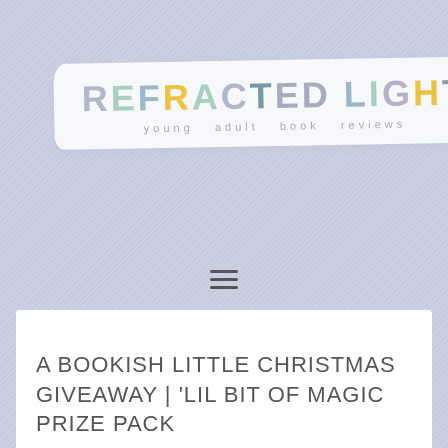[Figure (logo): Refracted Light young adult book reviews logo on white brush stroke background]
[Figure (other): Hamburger menu icon (three horizontal lines)]
A BOOKISH LITTLE CHRISTMAS GIVEAWAY | ‘LIL BIT OF MAGIC PRIZE PACK